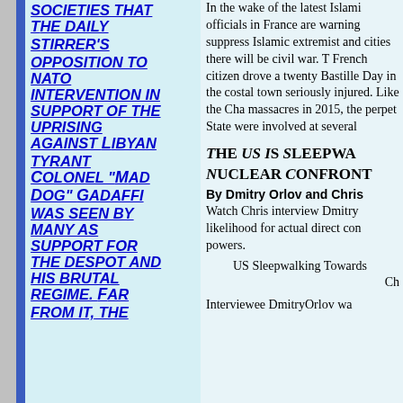SOCIETIES THAT THE DAILY STIRRER'S OPPOSITION TO NATO INTERVENTION IN SUPPORT OF THE UPRISING AGAINST LIBYAN TYRANT COLONEL "MAD DOG" GADAFFI WAS SEEN BY MANY AS SUPPORT FOR THE DESPOT AND HIS BRUTAL REGIME. FAR FROM IT, THE
In the wake of the latest Islami... officials in France are warning... suppress Islamic extremist and... cities there will be civil war. T... French citizen drove a twenty... Bastille Day in the costal town... seriously injured. Like the Ch... massacres in 2015, the perpetr... State were involved at several...
THE US IS SLEEPWA... NUCLEAR CONFRONT...
By Dmitry Orlov and Chris
Watch Chris interview Dmitry... likelihood for actual direct con... powers.
US Sleepwalking Towards...
Ch
Interviewee DmitryOrlov wa...